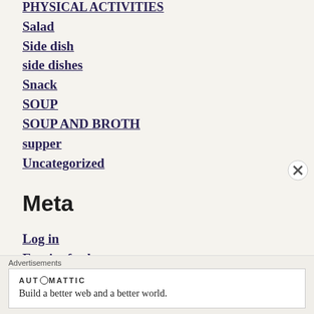PHYSICAL ACTIVITIES
Salad
Side dish
side dishes
Snack
SOUP
SOUP AND BROTH
supper
Uncategorized
Meta
Log in
Entries feed
Comments feed
Advertisements
AUTOMATTIC
Build a better web and a better world.